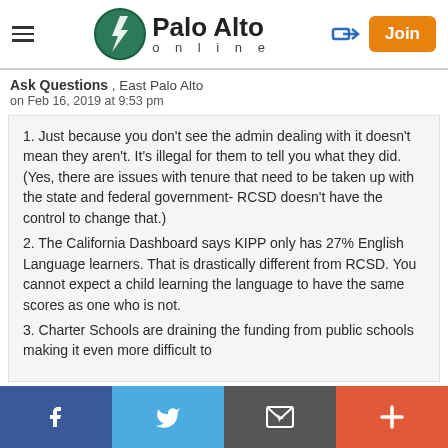Palo Alto online
Ask Questions , East Palo Alto
on Feb 16, 2019 at 9:53 pm
1. Just because you don't see the admin dealing with it doesn't mean they aren't. It's illegal for them to tell you what they did. (Yes, there are issues with tenure that need to be taken up with the state and federal government- RCSD doesn't have the control to change that.)
2. The California Dashboard says KIPP only has 27% English Language learners. That is drastically different from RCSD. You cannot expect a child learning the language to have the same scores as one who is not.
3. Charter Schools are draining the funding from public schools making it even more difficult to
Facebook  Twitter  Email  Plus